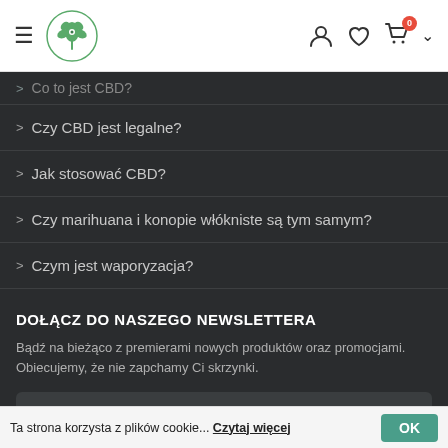Navigation header with hamburger menu, cannabis logo, user icon, heart icon, cart icon with badge 0, and chevron
Co to jest CBD?
Czy CBD jest legalne?
Jak stosować CBD?
Czy marihuana i konopie włókniste są tym samym?
Czym jest waporyzacja?
DOŁĄCZ DO NASZEGO NEWSLETTERA
Bądź na bieżąco z premierami nowych produktów oraz promocjami. Obiecujemy, że nie zapchamy Ci skrzynki.
Adres e-mail
Ta strona korzysta z plików cookie... Czytaj więcej OK